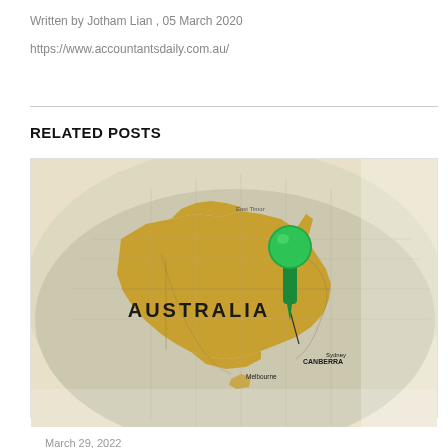Written by Jotham Lian , 05 March 2020
https://www.accountantsdaily.com.au/
RELATED POSTS
[Figure (photo): A globe/map showing Australia in gold/yellow tone with a green push pin stuck into the eastern coast near Canberra area. City labels visible include AUSTRALIA, CANBERRA, Melbourne, Sydney.]
March 29, 2022
FEDERAL BUDGET 2022 – 2023